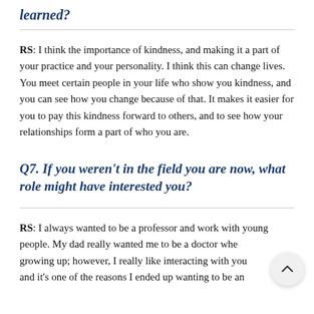learned?
RS: I think the importance of kindness, and making it a part of your practice and your personality. I think this can change lives. You meet certain people in your life who show you kindness, and you can see how you change because of that. It makes it easier for you to pay this kindness forward to others, and to see how your relationships form a part of who you are.
Q7. If you weren't in the field you are now, what role might have interested you?
RS: I always wanted to be a professor and work with young people. My dad really wanted me to be a doctor when growing up; however, I really like interacting with young people, and it's one of the reasons I ended up wanting to be an